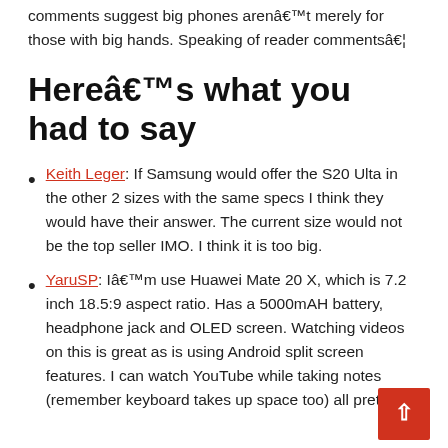comments suggest big phones aren't merely for those with big hands. Speaking of reader comments…
Here's what you had to say
Keith Leger: If Samsung would offer the S20 Ulta in the other 2 sizes with the same specs I think they would have their answer. The current size would not be the top seller IMO. I think it is too big.
YaruSP: I'm use Huawei Mate 20 X, which is 7.2 inch 18.5:9 aspect ratio. Has a 5000mAH battery, headphone jack and OLED screen. Watching videos on this is great as is using Android split screen features. I can watch YouTube while taking notes (remember keyboard takes up space too) all pretty